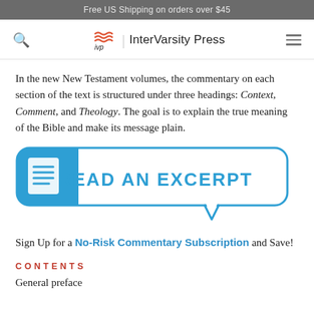Free US Shipping on orders over $45
[Figure (logo): InterVarsity Press (IVP) logo with navigation bar including search icon and hamburger menu]
In the new New Testament volumes, the commentary on each section of the text is structured under three headings: Context, Comment, and Theology. The goal is to explain the true meaning of the Bible and make its message plain.
[Figure (illustration): Blue speech bubble button with document icon reading READ AN EXCERPT]
Sign Up for a No-Risk Commentary Subscription and Save!
CONTENTS
General preface